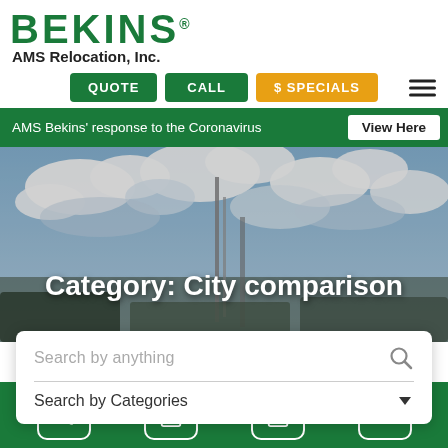[Figure (logo): Bekins logo with green bold text and registered mark, subtitle AMS Relocation, Inc.]
QUOTE   CALL   $ SPECIALS
AMS Bekins' response to the Coronavirus   View Here
[Figure (photo): Outdoor photo with cloudy sky and moving truck/vehicles visible, used as hero background image]
Category: City comparison
Search by anything
Search by Categories
Bottom navigation bar with phone, calculator, clipboard, and up-arrow icons